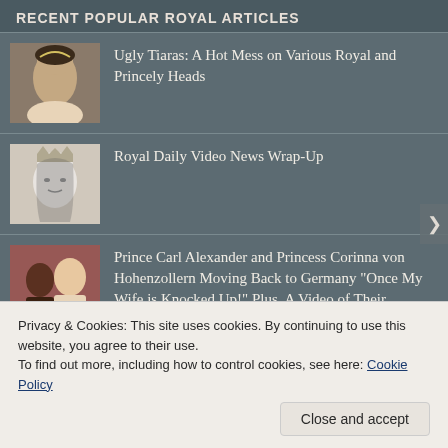RECENT POPULAR ROYAL ARTICLES
Ugly Tiaras: A Hot Mess on Various Royal and Princely Heads
Royal Daily Video News Wrap-Up
Prince Carl Alexander and Princess Corinna von Hohenzollern Moving Back to Germany "Once My Wife is Knocked Up!" Plus, A Video of Their Wedding Reception... Awww
Her Royal Highness Princess Iman bint Abdullah II of Jordan is Engaged! UPDATED: With Detailed
Privacy & Cookies: This site uses cookies. By continuing to use this website, you agree to their use.
To find out more, including how to control cookies, see here: Cookie Policy
Close and accept